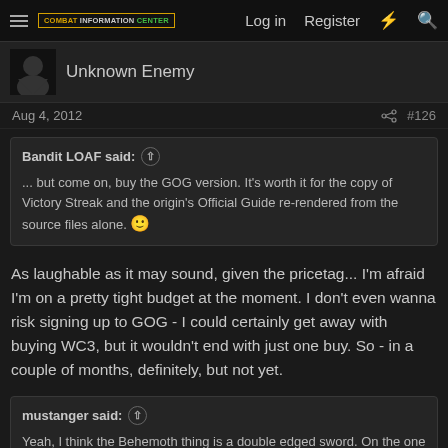Combat Information Center | Log in | Register
Unknown Enemy
Aug 4, 2012  #126
Bandit LOAF said: ↑  ... but come on, buy the GOG version. It's worth it for the copy of Victory Streak and the origin's Official Guide re-rendered from the source files alone. 🙂
As laughable as it may sound, given the pricetag... I'm afraid I'm on a pretty tight budget at the moment. I don't even wanna risk signing up to GOG - I could certainly get away with buying WC3, but it wouldn't end with just one buy. So - in a couple of months, definitely, but not yet.
mustanger said: ↑  Yeah, I think the Behemoth thing is a double edged sword. On the one hand, if you don't say enough about it, the new players who didn't play